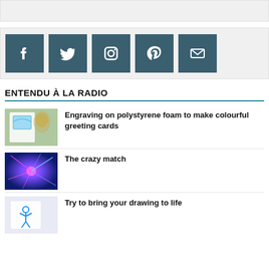[Figure (other): Top gray bar placeholder]
[Figure (infographic): Social media icons: Facebook, Twitter, Instagram, Pinterest, Email — dark teal square buttons]
ENTENDU À LA RADIO
[Figure (photo): Greeting cards with colorful engraving on polystyrene foam]
Engraving on polystyrene foam to make colourful greeting cards
[Figure (photo): Plasma ball with pink and blue electric filaments]
The crazy match
[Figure (photo): Drawing being brought to life — blue figure on white background]
Try to bring your drawing to life